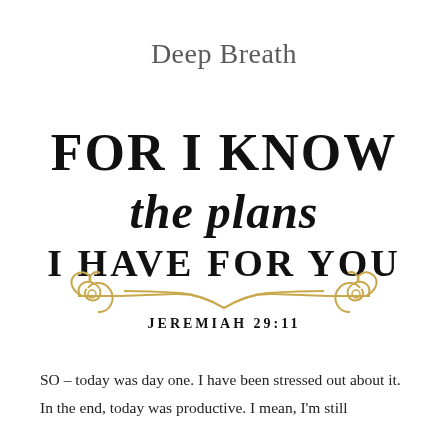Deep Breath
[Figure (illustration): Decorative Bible verse graphic with mixed serif and script typography reading 'FOR I KNOW the plans I HAVE FOR YOU' with golden ornamental swirl divider below, and 'JEREMIAH 29:11' in bold small caps beneath]
SO – today was day one. I have been stressed out about it. In the end, today was productive. I mean, I'm still